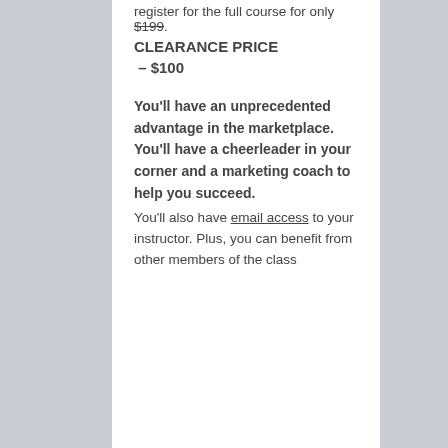register for the full course for only $199. CLEARANCE PRICE – $100
You'll have an unprecedented advantage in the marketplace. You'll have a cheerleader in your corner and a marketing coach to help you succeed. You'll also have email access to your instructor. Plus, you can benefit from other members of the class